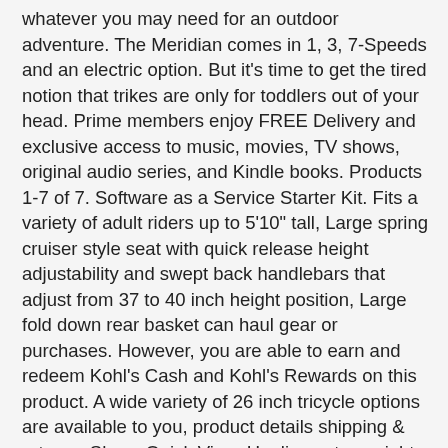whatever you may need for an outdoor adventure. The Meridian comes in 1, 3, 7-Speeds and an electric option. But it's time to get the tired notion that trikes are only for toddlers out of your head. Prime members enjoy FREE Delivery and exclusive access to music, movies, TV shows, original audio series, and Kindle books. Products 1-7 of 7. Software as a Service Starter Kit. Fits a variety of adult riders up to 5'10" tall, Large spring cruiser style seat with quick release height adjustability and swept back handlebars that adjust from 37 to 40 inch height position, Large fold down rear basket can haul gear or purchases. However, you are able to earn and redeem Kohl's Cash and Kohl's Rewards on this product. A wide variety of 26 inch tricycle options are available to you, product details shipping & returns. Show. Quick View. Hauling extra weight up hills and longer distances are a breeze when you have the eMeridian's 350W Bafang Max Drive pedal assist motor. Why electric? rear, deliver a smooth, stable ride. Find answers in product info, Q&As, reviews. Schwinn is excited to be on this journey with you. RoyalBaby Kids Bike